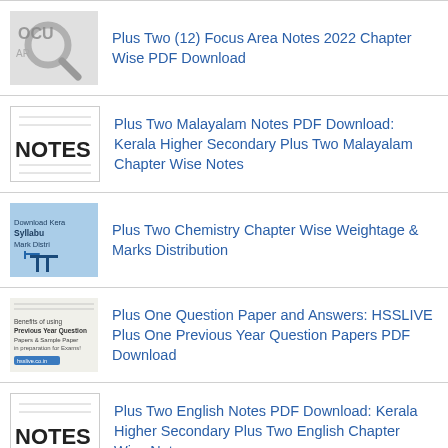Plus Two (12) Focus Area Notes 2022 Chapter Wise PDF Download
Plus Two Malayalam Notes PDF Download: Kerala Higher Secondary Plus Two Malayalam Chapter Wise Notes
Plus Two Chemistry Chapter Wise Weightage & Marks Distribution
Plus One Question Paper and Answers: HSSLIVE Plus One Previous Year Question Papers PDF Download
Plus Two English Notes PDF Download: Kerala Higher Secondary Plus Two English Chapter Wise Notes